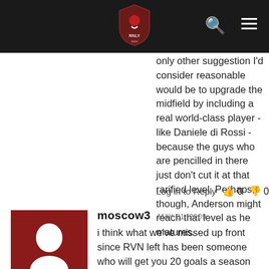Site header with logo and navigation icons
only other suggestion I'd consider reasonable would be to upgrade the midfield by including a real world-class player - like Daniele di Rossi - because the guys who are pencilled in there just don't cut it at that rarified level. Perhaps, though, Anderson might reach that level as he matures.
Log in to Reply  👍 0  👎 0
[Figure (illustration): Dark red avatar placeholder with white person silhouette icon]
moscow3  MAY 21, 2009
i think what we've missed up front since RVN left has been someone who will get you 20 goals a season and is able to a) hold the ball up and b) compete in the air for long balls coming from the back. if we lose